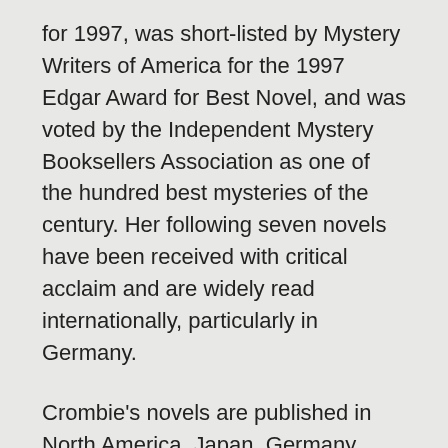for 1997, was short-listed by Mystery Writers of America for the 1997 Edgar Award for Best Novel, and was voted by the Independent Mystery Booksellers Association as one of the hundred best mysteries of the century. Her following seven novels have been received with critical acclaim and are widely read internationally, particularly in Germany.
Crombie's novels are published in North America, Japan, Germany, Italy, France, Norway, the Netherlands, Czechoslovakia, Spain, Romania, Greece, Turkey, the United Kingdom and other Commonwealth countries.
Crombie divides her time between England and her home in McKinney, Texas, where she lives in an early Arts and Crafts bungalow with her husband, two German shepherds (Hallie and Neela), and three